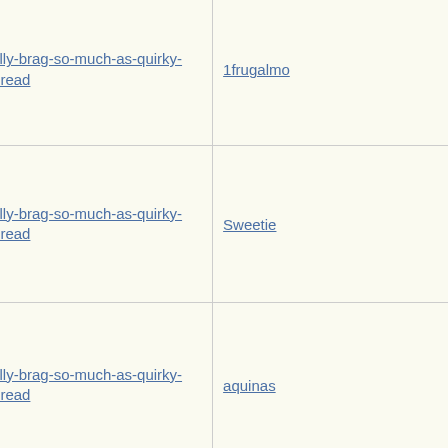| Subject | Author |
| --- | --- |
| Re: Not-really-brag-so-much-as-quirky-anecdote thread | 1frugalmo |
| Re: Not-really-brag-so-much-as-quirky-anecdote thread | Sweetie |
| Re: Not-really-brag-so-much-as-quirky-anecdote thread | aquinas |
| Re: Not-really-brag-so-much-as-quirky-anecdote thread | Dude |
| Re: Not-really-brag-so-much-as-quirky-anecdote thread | 1frugalmo |
| Re: Not-really-brag-so-much-as-quirky-anecdote thread | HowlerKa |
| Re: Not-really-brag-so-much-as-quirky-anecdote thread | Mana... |